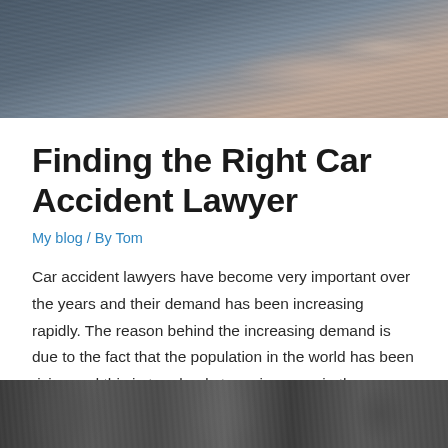[Figure (photo): Water surface / ocean waves photo header image with light reflecting off water]
Finding the Right Car Accident Lawyer
My blog / By Tom
Car accident lawyers have become very important over the years and their demand has been increasing rapidly. The reason behind the increasing demand is due to the fact that the population in the world has been rising and this in turn leads to an increase in the number of cars on the road which thus leads to an increase in accidents. This is why you need these professionals who can help you and ensure that your case starts soon.
[Figure (photo): Car accident or vehicle close-up photo at bottom of page]